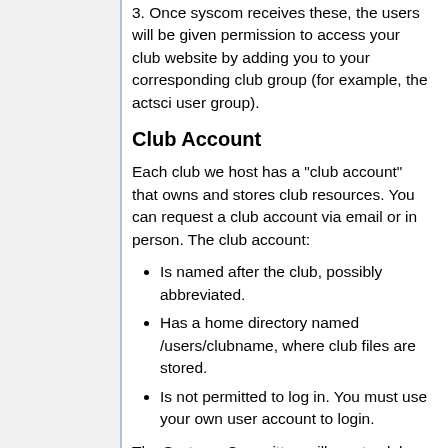3. Once syscom receives these, the users will be given permission to access your club website by adding you to your corresponding club group (for example, the actsci user group).
Club Account
Each club we host has a "club account" that owns and stores club resources. You can request a club account via email or in person. The club account:
Is named after the club, possibly abbreviated.
Has a home directory named /users/clubname, where club files are stored.
Is not permitted to log in. You must use your own user account to login.
The Systems Committee will create club accounts when sent a request from the